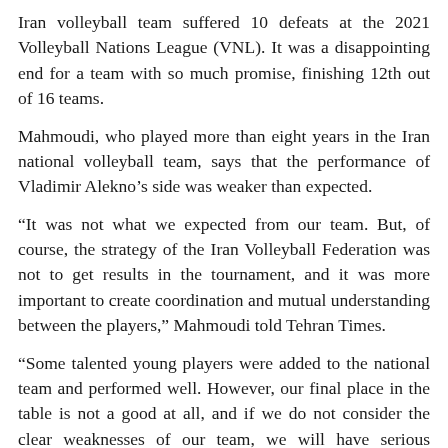Iran volleyball team suffered 10 defeats at the 2021 Volleyball Nations League (VNL). It was a disappointing end for a team with so much promise, finishing 12th out of 16 teams.
Mahmoudi, who played more than eight years in the Iran national volleyball team, says that the performance of Vladimir Alekno's side was weaker than expected.
“It was not what we expected from our team. But, of course, the strategy of the Iran Volleyball Federation was not to get results in the tournament, and it was more important to create coordination and mutual understanding between the players,” Mahmoudi told Tehran Times.
“Some talented young players were added to the national team and performed well. However, our final place in the table is not a good at all, and if we do not consider the clear weaknesses of our team, we will have serious problems in the Olympic Games.
“Alekno didn’t’ know the players well, and he aimed to test the potential ability of the players. But, given Mr. Alekno’s honors and experiences, it was suspected that the national team would